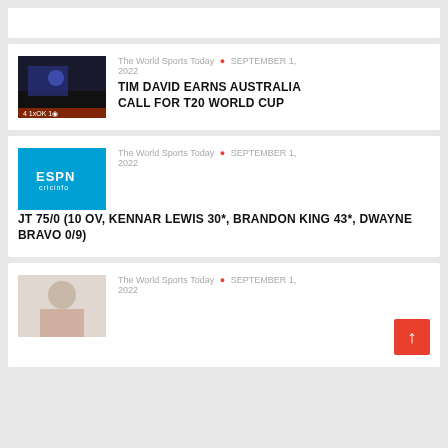[Figure (screenshot): Partial card at top of page (cropped)]
The World Sports Today • SEPTEMBER 1, 2022
TIM DAVID EARNS AUSTRALIA CALL FOR T20 WORLD CUP
[Figure (logo): ESPN Cricinfo logo on blue background]
The World Sports Today • SEPTEMBER 1, 2022
JT 75/0 (10 OV, KENNAR LEWIS 30*, BRANDON KING 43*, DWAYNE BRAVO 0/9)
[Figure (photo): Photo of a cricket player (partially visible at bottom)]
The World Sports Today • SEPTEMBER 1, 2022